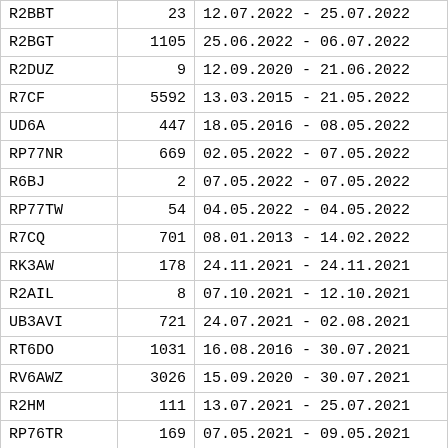| R2BBT | 23 | 12.07.2022 - 25.07.2022 |
| R2BGT | 1105 | 25.06.2022 - 06.07.2022 |
| R2DUZ | 9 | 12.09.2020 - 21.06.2022 |
| R7CF | 5592 | 13.03.2015 - 21.05.2022 |
| UD6A | 447 | 18.05.2016 - 08.05.2022 |
| RP77NR | 669 | 02.05.2022 - 07.05.2022 |
| R6BJ | 2 | 07.05.2022 - 07.05.2022 |
| RP77TW | 54 | 04.05.2022 - 04.05.2022 |
| R7CQ | 701 | 08.01.2013 - 14.02.2022 |
| RK3AW | 178 | 24.11.2021 - 24.11.2021 |
| R2AIL | 8 | 07.10.2021 - 12.10.2021 |
| UB3AVI | 721 | 24.07.2021 - 02.08.2021 |
| RT6DO | 1031 | 16.08.2016 - 30.07.2021 |
| RV6AWZ | 3026 | 15.09.2020 - 30.07.2021 |
| R2HM | 111 | 13.07.2021 - 25.07.2021 |
| RP76TR | 169 | 07.05.2021 - 09.05.2021 |